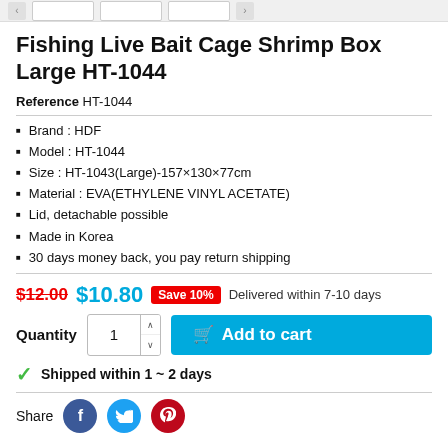Fishing Live Bait Cage Shrimp Box Large HT-1044
Reference HT-1044
Brand : HDF
Model : HT-1044
Size : HT-1043(Large)-157×130×77cm
Material : EVA(ETHYLENE VINYL ACETATE)
Lid, detachable possible
Made in Korea
30 days money back, you pay return shipping
$12.00  $10.80  Save 10%  Delivered within 7-10 days
Quantity  1  Add to cart
Shipped within 1 ~ 2 days
Share